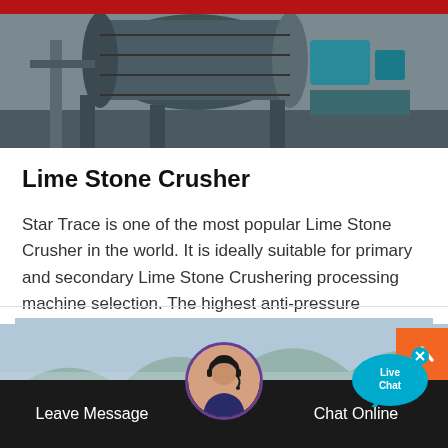[Figure (photo): Industrial machinery — large cylindrical grinding/crushing mill with motors, in a factory setting]
Lime Stone Crusher
Star Trace is one of the most popular Lime Stone Crusher in the world. It is ideally suitable for primary and secondary Lime Stone Crushering processing machine selection. The highest anti-pressure strength of crushed material. Lime stone crusher includes single
[Figure (photo): Scenic landscape with mountains and trees in the background, misty green hills]
[Figure (infographic): Live Chat speech bubble widget in cyan/blue color with 'Live Chat' text and a close X button]
[Figure (infographic): Orange back-to-top button with upward caret arrow]
[Figure (photo): Customer service representative avatar — woman with headset, circular photo with purple border]
Leave Message   Chat Online